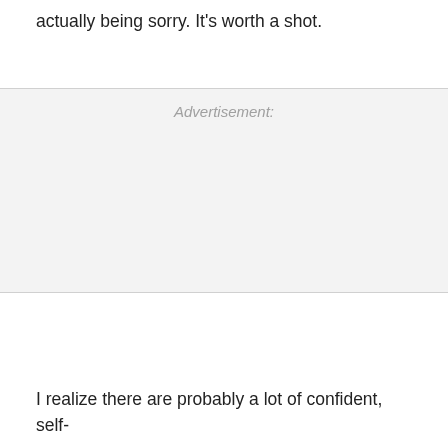actually being sorry. It's worth a shot.
[Figure (other): Advertisement placeholder block with 'Advertisement:' label in gray italic text on a light gray background]
I realize there are probably a lot of confident, self-